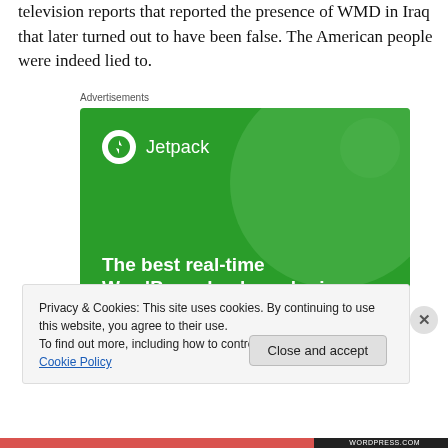television reports that reported the presence of WMD in Iraq that later turned out to have been false. The American people were indeed lied to.
[Figure (advertisement): Jetpack advertisement banner with green background showing 'The best real-time WordPress backup plugin']
Privacy & Cookies: This site uses cookies. By continuing to use this website, you agree to their use.
To find out more, including how to control cookies, see here: Cookie Policy